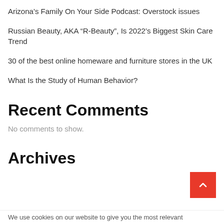Arizona’s Family On Your Side Podcast: Overstock issues
Russian Beauty, AKA “R-Beauty”, Is 2022’s Biggest Skin Care Trend
30 of the best online homeware and furniture stores in the UK
What Is the Study of Human Behavior?
Recent Comments
No comments to show.
Archives
We use cookies on our website to give you the most relevant